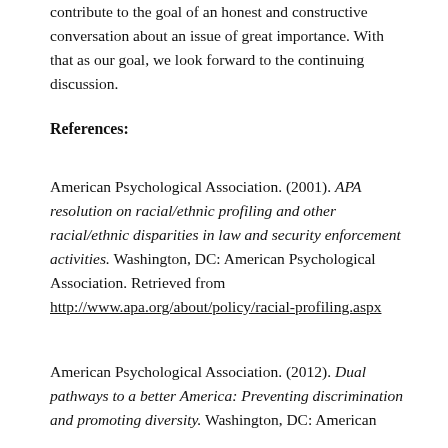contribute to the goal of an honest and constructive conversation about an issue of great importance. With that as our goal, we look forward to the continuing discussion.
References:
American Psychological Association. (2001). APA resolution on racial/ethnic profiling and other racial/ethnic disparities in law and security enforcement activities. Washington, DC: American Psychological Association. Retrieved from http://www.apa.org/about/policy/racial-profiling.aspx
American Psychological Association. (2012). Dual pathways to a better America: Preventing discrimination and promoting diversity. Washington, DC: American